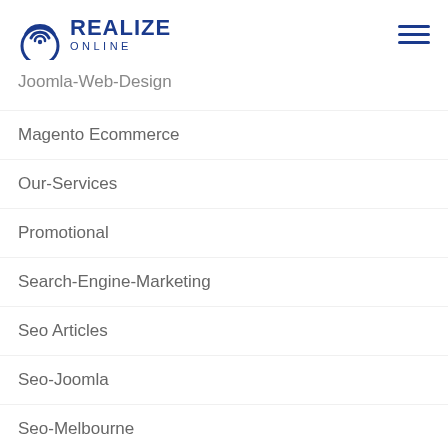[Figure (logo): Realize Online logo with circular antenna icon in blue and bold 'REALIZE ONLINE' text in dark blue]
Joomla-Web-Design
Magento Ecommerce
Our-Services
Promotional
Search-Engine-Marketing
Seo Articles
Seo-Joomla
Seo-Melbourne